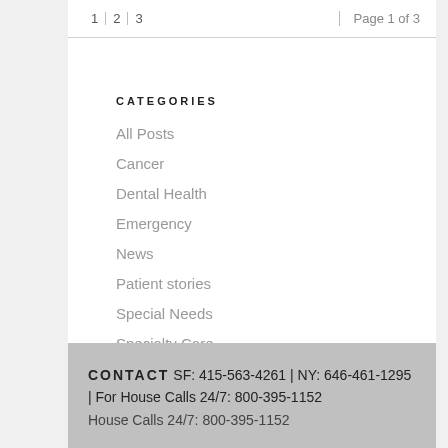1  2  3   Page 1 of 3
CATEGORIES
All Posts
Cancer
Dental Health
Emergency
News
Patient stories
Special Needs
Specialty Care
Substance abuse
CONTACT SF: 415-563-4261 | NY: 646-461-1295 | For House Calls 24/7: 800-395-1152